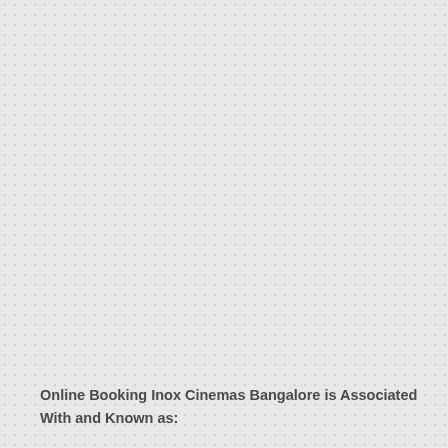Online Booking Inox Cinemas Bangalore is Associated With and Known as: